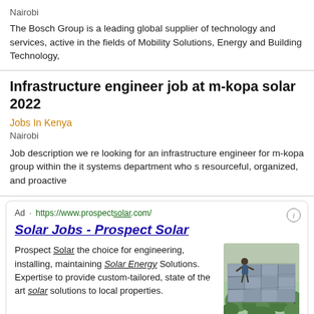Nairobi
The Bosch Group is a leading global supplier of technology and services, active in the fields of Mobility Solutions, Energy and Building Technology,
Infrastructure engineer job at m-kopa solar 2022
Jobs In Kenya
Nairobi
Job description we re looking for an infrastructure engineer for m-kopa group within the it systems department who s resourceful, organized, and proactive
Ad · https://www.prospectsolar.com/
Solar Jobs - Prospect Solar
Prospect Solar the choice for engineering, installing, maintaining Solar Energy Solutions. Expertise to provide custom-tailored, state of the art solar solutions to local properties.
[Figure (photo): A person installing or maintaining solar panels on a rooftop, with green trees/shrubs visible in the background. The panels are large and silver/grey.]
Ad · https://...